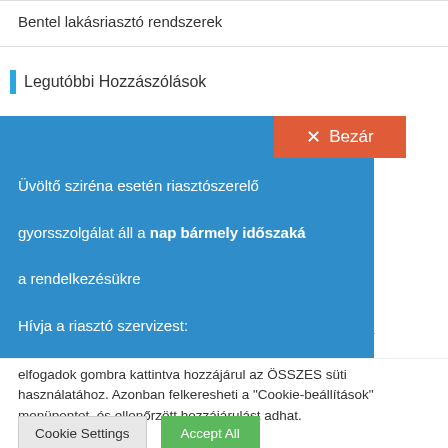Bentel lakásriasztó rendszerek
Legutóbbi Hozzászólások
[Figure (screenshot): Blue popup overlay with orange close button labeled 'Bezár' and white text: 'Üvöltő sziréna esetén riasztószerelő gyorsszolgálat áll a nap bármely időszakában a rendelkezésükre. Hívja a riasztó szervizest: Telefon: 06(70)3173155']
ató
gy a hogy emlékezünk a z „Összes
elfogadok gombra kattintva hozzájárul az ÖSSZES süti használatához. Azonban felkeresheti a "Cookie-beállítások" menüpontot, és ellenőrzött hozzájárulást adhat.
Cookie Settings
Accept All